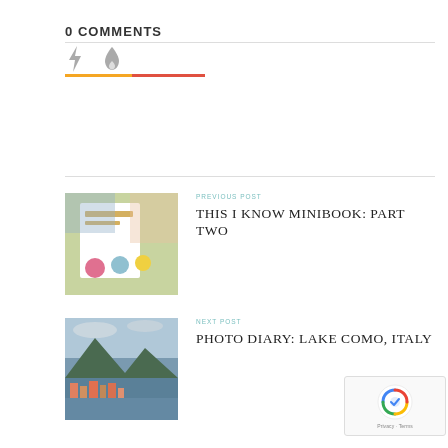0 COMMENTS
[Figure (illustration): Social sharing icon bar with lightning bolt and fire/droplet icons, with an orange-red colored progress bar beneath]
[Figure (photo): Thumbnail photo showing a minibook with colorful stickers and decorative items]
PREVIOUS POST
THIS I KNOW MINIBOOK: PART TWO
[Figure (photo): Thumbnail photo showing Lake Como, Italy with mountains and colorful buildings by the water]
NEXT POST
PHOTO DIARY: LAKE COMO, ITALY
[Figure (logo): reCAPTCHA badge with Google logo, Privacy and Terms text]